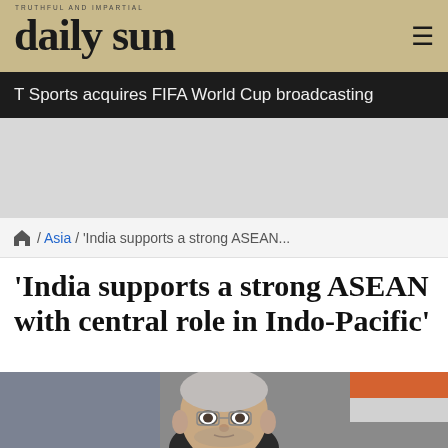daily sun
T Sports acquires FIFA World Cup broadcasting
[Figure (other): Advertisement placeholder grey area]
/ Asia / 'India supports a strong ASEAN...'
'India supports a strong ASEAN with central role in Indo-Pacific'
[Figure (photo): Photo of a man with grey hair and glasses speaking at a podium, with American and Indian flags visible in background]